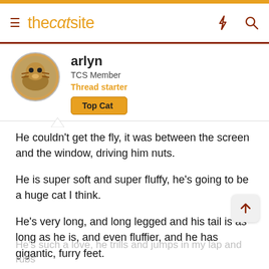thecatsite
arlyn
TCS Member
Thread starter
Top Cat
He couldn't get the fly, it was between the screen and the window, driving him nuts.
He is super soft and super fluffy, he's going to be a huge cat I think.
He's very long, and long legged and his tail is as long as he is, and even fluffier, and he has gigantic, furry feet.
He's such a love, he trills and jumps in my lap and rubs